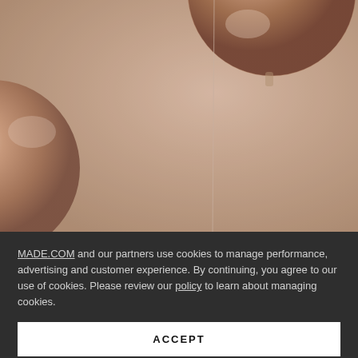[Figure (photo): Photograph of copper/rose-gold glass pendant lights hanging from ceiling against a muted pinkish-beige wall. Three bulbous glass lamp shades visible in various positions.]
MADE.COM and our partners use cookies to manage performance, advertising and customer experience. By continuing, you agree to our use of cookies. Please review our policy to learn about managing cookies.
ACCEPT